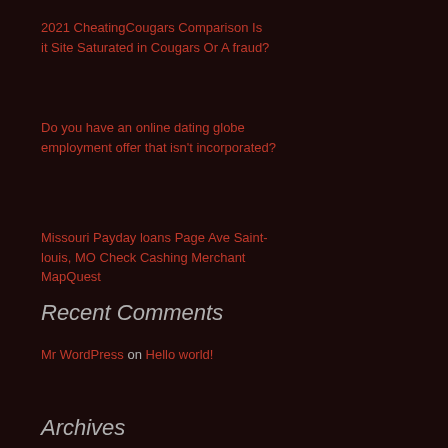2021 CheatingCougars Comparison Is it Site Saturated in Cougars Or A fraud?
Do you have an online dating globe employment offer that isn't incorporated?
Missouri Payday loans Page Ave Saint-louis, MO Check Cashing Merchant MapQuest
Recent Comments
Mr WordPress on Hello world!
Archives